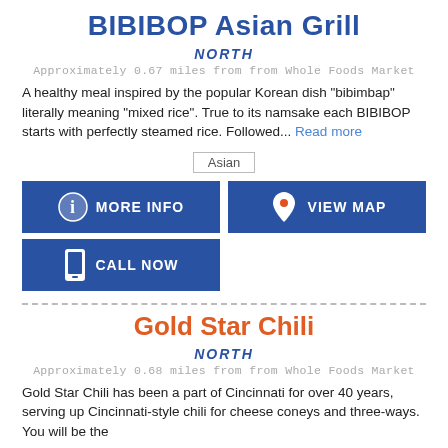BIBIBOP Asian Grill
NORTH
Approximately 0.67 miles from from Whole Foods Market
A healthy meal inspired by the popular Korean dish "bibimbap" literally meaning "mixed rice". True to its namsake each BIBIBOP starts with perfectly steamed rice. Followed... Read more
Asian
MORE INFO
VIEW MAP
CALL NOW
Gold Star Chili
NORTH
Approximately 0.68 miles from from Whole Foods Market
Gold Star Chili has been a part of Cincinnati for over 40 years, serving up Cincinnati-style chili for cheese coneys and three-ways. You will be the